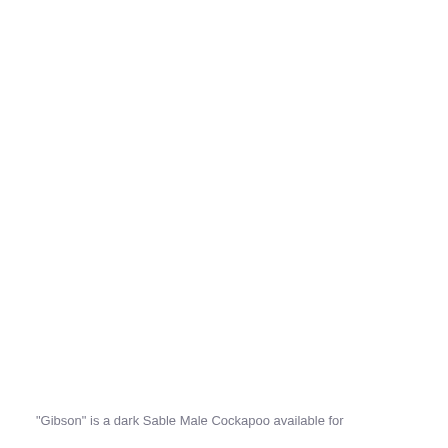"Gibson" is a dark Sable Male Cockapoo available for